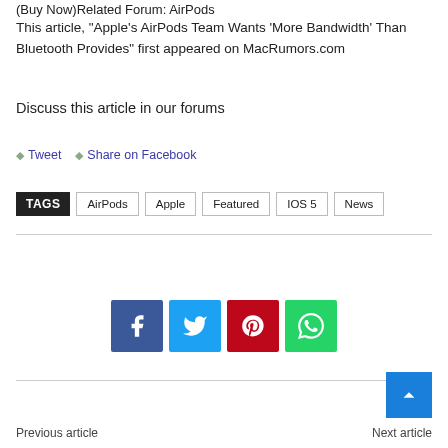(Buy Now)Related Forum: AirPods
This article, “Apple’s AirPods Team Wants ‘More Bandwidth’ Than Bluetooth Provides” first appeared on MacRumors.com
Discuss this article in our forums
Tweet
Share on Facebook
TAGS: AirPods | Apple | Featured | IOS 5 | News
[Figure (infographic): Social share buttons: Facebook (blue), Twitter (cyan), Pinterest (red), WhatsApp (green)]
Previous article | Next article